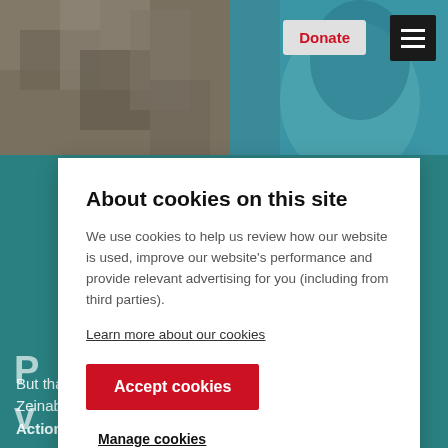[Figure (photo): Background photo of a child near a tree with teal/green color overlay in the lower portion. Website screenshot with Donate button and hamburger menu in top right.]
About cookies on this site
We use cookies to help us review how our website is used, improve our website's performance and provide relevant advertising for you (including from third parties).
Learn more about our cookies
Accept cookies
Manage cookies
But thanks to support through ActionAid child sponsorship, Zeinab and her friends are going to school and attending an ActionAid Girls' Club, where they learn how to avoid